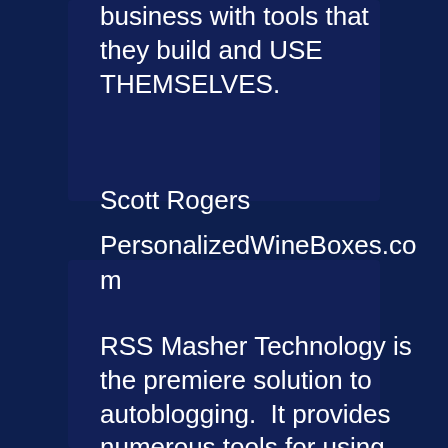business with tools that they build and USE THEMSELVES.
Scott Rogers
PersonalizedWineBoxes.com
RSS Masher Technology is the premiere solution to autoblogging.  It provides numerous tools for using RSS feeds to fill your blogs